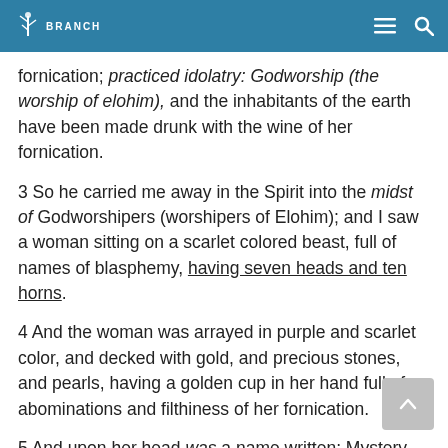BRANCH
fornication; practiced idolatry: Godworship (the worship of elohim), and the inhabitants of the earth have been made drunk with the wine of her fornication.
3 So he carried me away in the Spirit into the midst of Godworshipers (worshipers of Elohim); and I saw a woman sitting on a scarlet colored beast, full of names of blasphemy, having seven heads and ten horns.
4 And the woman was arrayed in purple and scarlet color, and decked with gold, and precious stones, and pearls, having a golden cup in her hand full of abominations and filthiness of her fornication.
5 And upon her head was a name written: Mystery